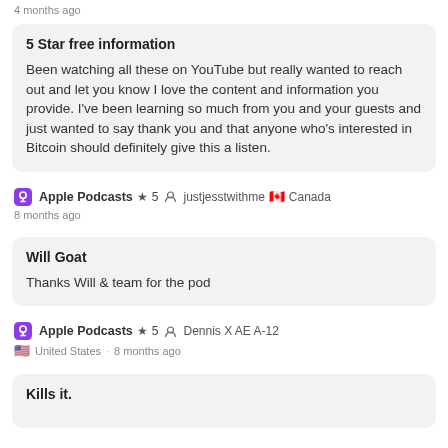4 months ago
5 Star free information
Been watching all these on YouTube but really wanted to reach out and let you know I love the content and information you provide. I've been learning so much from you and your guests and just wanted to say thank you and that anyone who's interested in Bitcoin should definitely give this a listen.
Apple Podcasts  ★ 5  justjesstwithme  🇨🇦 Canada
8 months ago
Will Goat
Thanks Will & team for the pod
Apple Podcasts  ★ 5  Dennis X AE A-12
United States  8 months ago
Kills it.